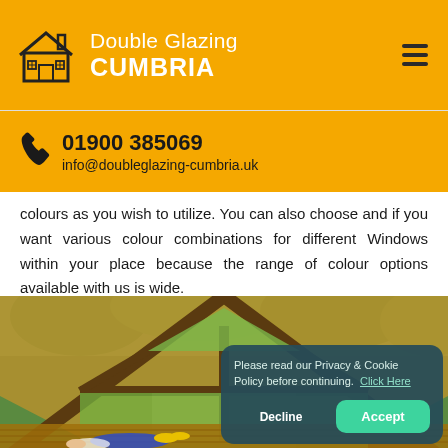Double Glazing CUMBRIA
01900 385069
info@doubleglazing-cumbria.uk
colours as you wish to utilize. You can also choose and if you want various colour combinations for different Windows within your place because the range of colour options available with us is wide.
[Figure (photo): Interior view of a wooden cabin with large triangular and rectangular double-glazed windows looking out to a green garden. A person in blue jeans is lying on the wooden floor.]
Please read our Privacy & Cookie Policy before continuing. Click Here
Decline  Accept